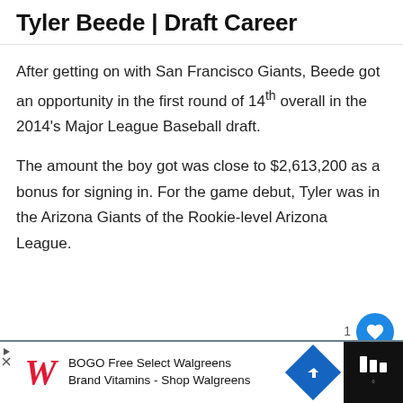Tyler Beede | Draft Career
After getting on with San Francisco Giants, Beede got an opportunity in the first round of 14th overall in the 2014's Major League Baseball draft.
The amount the boy got was close to $2,613,200 as a bonus for signing in. For the game debut, Tyler was in the Arizona Giants of the Rookie-level Arizona League.
[Figure (photo): Photo of Tyler Beede pitching, wearing a San Francisco Giants black cap with orange SF logo]
[Figure (infographic): Advertisement bar: BOGO Free Select Walgreens Brand Vitamins - Shop Walgreens with Walgreens logo and blue arrow]